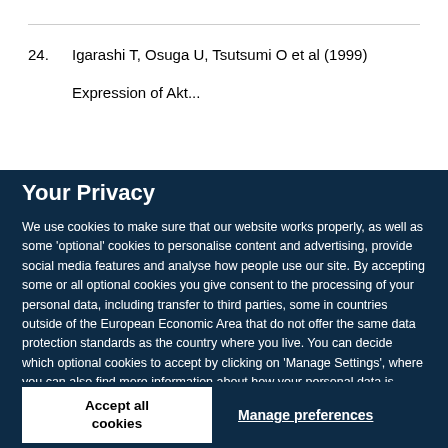24. Igarashi T, Osuga U, Tsutsumi O et al (1999)
Expression of Akt...
Your Privacy
We use cookies to make sure that our website works properly, as well as some 'optional' cookies to personalise content and advertising, provide social media features and analyse how people use our site. By accepting some or all optional cookies you give consent to the processing of your personal data, including transfer to third parties, some in countries outside of the European Economic Area that do not offer the same data protection standards as the country where you live. You can decide which optional cookies to accept by clicking on 'Manage Settings', where you can also find more information about how your personal data is processed. Further information can be found in our privacy policy.
Accept all cookies
Manage preferences